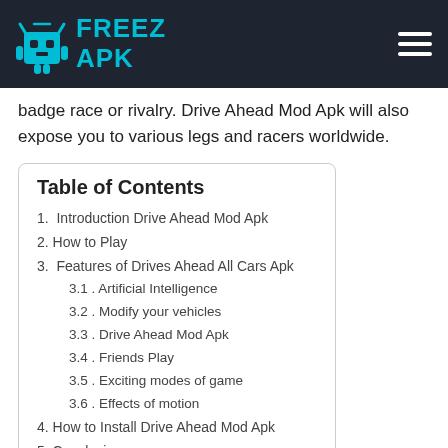FREEZ APK
badge race or rivalry. Drive Ahead Mod Apk will also expose you to various legs and racers worldwide.
| Table of Contents |
| --- |
| 1.  Introduction Drive Ahead Mod Apk |
| 2. How to Play |
| 3.  Features of Drives Ahead All Cars Apk |
| 3.1 . Artificial Intelligence |
| 3.2 . Modify your vehicles |
| 3.3 . Drive Ahead Mod Apk |
| 3.4 . Friends Play |
| 3.5 . Exciting modes of game |
| 3.6 . Effects of motion |
| 4.  How to Install Drive Ahead Mod Apk |
| 5.  Conclusion |
| 6.  FAQs |
Do you enjoy gaming and want to spend too much time playing